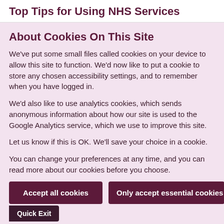Top Tips for Using NHS Services
About Cookies On This Site
We've put some small files called cookies on your device to allow this site to function. We'd now like to put a cookie to store any chosen accessibility settings, and to remember when you have logged in.
We'd also like to use analytics cookies, which sends anonymous information about how our site is used to the Google Analytics service, which we use to improve this site.
Let us know if this is OK. We'll save your choice in a cookie.
You can change your preferences at any time, and you can read more about our cookies before you choose.